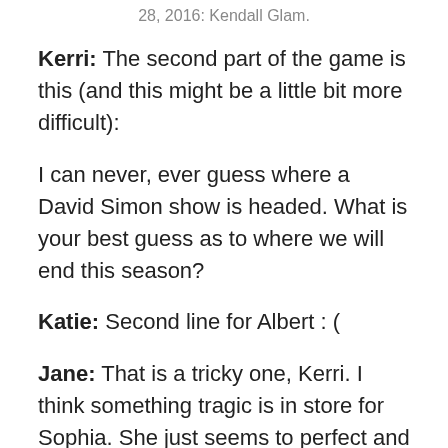28, 2016: Kendall Glam.
Kerri: The second part of the game is this (and this might be a little bit more difficult):
I can never, ever guess where a David Simon show is headed. What is your best guess as to where we will end this season?
Katie: Second line for Albert : (
Jane: That is a tricky one, Kerri. I think something tragic is in store for Sophia. She just seems to perfect and content.
Kerri: That's a good guess, Katie.